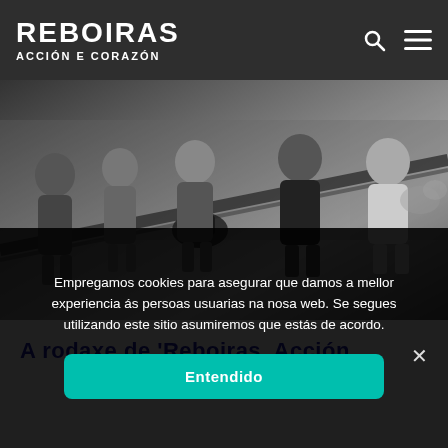REBOIRAS ACCIÓN E CORAZÓN
[Figure (photo): Film crew working outdoors on a street, several people standing around a camera on a track/dolly. Black and white photo with a man in a leather jacket and others with cameras and equipment.]
A rodaxe de 'Reboiras, Acción
Empregamos cookies para asegurar que damos a mellor experiencia ás persoas usuarias na nosa web. Se segues utilizando este sitio asumiremos que estás de acordo.
Entendido